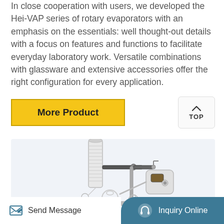In close cooperation with users, we developed the Hei-VAP series of rotary evaporators with an emphasis on the essentials: well thought-out details with a focus on features and functions to facilitate everyday laboratory work. Versatile combinations with glassware and extensive accessories offer the right configuration for every application.
More Product
[Figure (illustration): Rotary evaporator (Hei-VAP series) rendered in a light blue-grey background panel, showing the condenser column, flask, motor unit, and glassware.]
Send Message | Inquiry Online